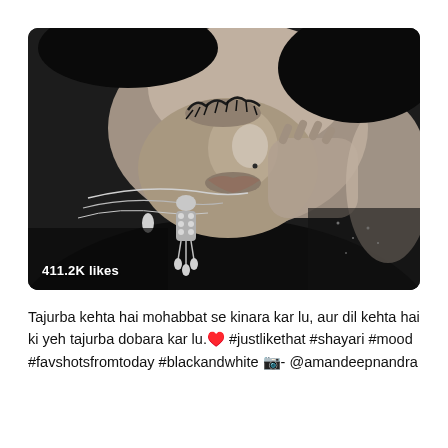[Figure (photo): Black and white close-up photograph of a woman with eyes closed, wearing elaborate jewelry including necklaces and dangling earrings. She holds her hand near her face. The image shows 411.2K likes overlay text at the bottom left.]
Tajurba kehta hai mohabbat se kinara kar lu, aur dil kehta hai ki yeh tajurba dobara kar lu.♥️ #justlikethat #shayari #mood #favshotsfromtoday #blackandwhite 📷- @amandeepnandra